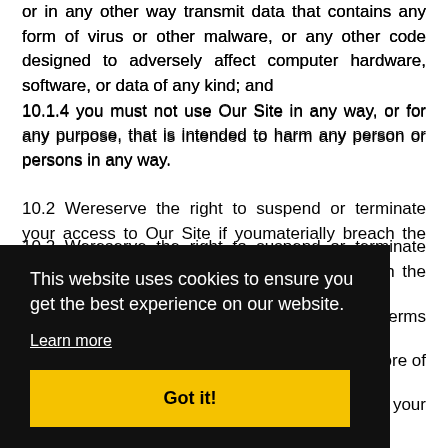or in any other way transmit data that contains any form of virus or other malware, or any other code designed to adversely affect computer hardware, software, or data of any kind; and
10.1.4 you must not use Our Site in any way, or for any purpose, that is intended to harm any person or persons in any way.
10.2 Wereserve the right to suspend or terminate your access to Our Site if youmaterially breach the provisions of these Terms
more of
ly, your
rsement of any and all relevant costs on an indemnity basis resulting
[Figure (screenshot): Cookie consent banner overlay with black background. Text reads: 'This website uses cookies to ensure you get the best experience on our website.' with a 'Learn more' underlined link and a yellow 'Got it!' button.]